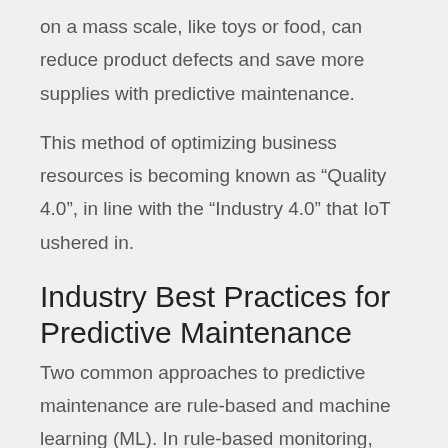on a mass scale, like toys or food, can reduce product defects and save more supplies with predictive maintenance.
This method of optimizing business resources is becoming known as “Quality 4.0”, in line with the “Industry 4.0” that IoT ushered in.
Industry Best Practices for Predictive Maintenance
Two common approaches to predictive maintenance are rule-based and machine learning (ML). In rule-based monitoring, sensors collect and aggregate data about equipment, sending alerts based on predefined thresholds. In this method,